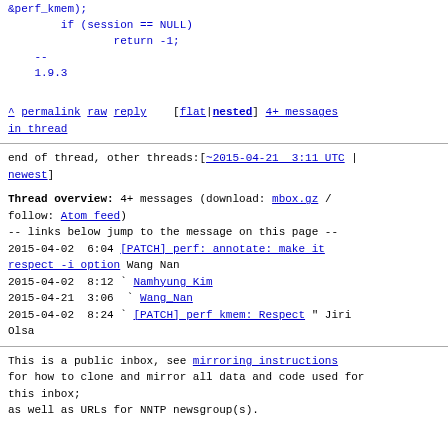&perf_kmem);
        if (session == NULL)
                return -1;
    --
    1.9.3
^ permalink raw reply [flat|nested] 4+ messages in thread
end of thread, other threads:[~2015-04-21 3:11 UTC | newest]
Thread overview: 4+ messages (download: mbox.gz / follow: Atom feed)
-- links below jump to the message on this page --
2015-04-02 6:04 [PATCH] perf: annotate: make it respect -i option Wang Nan
2015-04-02 8:12 ` Namhyung Kim
2015-04-21 3:06   ` Wang_Nan
2015-04-02 8:24 ` [PATCH] perf kmem: Respect " Jiri Olsa
This is a public inbox, see mirroring instructions
for how to clone and mirror all data and code used for this inbox;
as well as URLs for NNTP newsgroup(s).